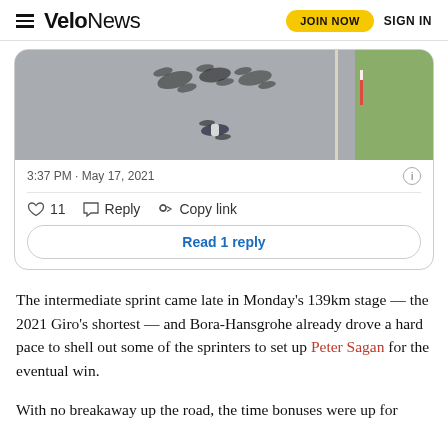VeloNews | JOIN NOW | SIGN IN
[Figure (screenshot): Embedded tweet screenshot showing aerial photo of cyclists racing on a road with shadows visible, timestamp 3:37 PM · May 17, 2021, with 11 likes, Reply, Copy link actions, and a 'Read 1 reply' button.]
The intermediate sprint came late in Monday's 139km stage — the 2021 Giro's shortest — and Bora-Hansgrohe already drove a hard pace to shell out some of the sprinters to set up Peter Sagan for the eventual win.
With no breakaway up the road, the time bonuses were up for